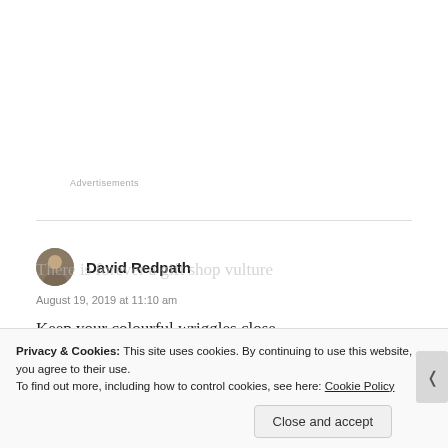Advertisements
David Redpath
August 19, 2019 at 11:10 am
Keep your colourful wriggles close
by the verge of misadventure ...
but the dark margins even closer.
There is ever an abyss
There is forever a gift shop vulture
Privacy & Cookies: This site uses cookies. By continuing to use this website, you agree to their use.
To find out more, including how to control cookies, see here: Cookie Policy
Close and accept